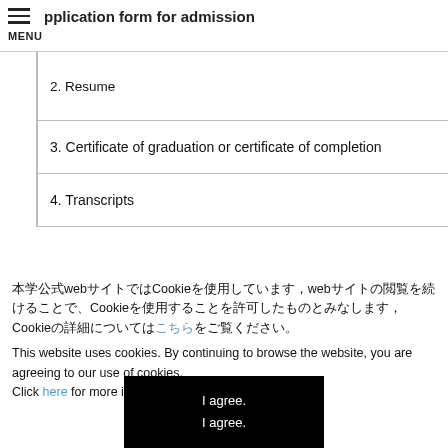pplication form for admission
2. Resume
3. Certificate of graduation or certificate of completion
4. Transcripts
本学公式webサイトではCookieを使用しています，webサイトの閲覧を続けることで、Cookieを使用することを許可したものとみなします，Cookieの詳細についてはこちらをご覧ください。
This website uses cookies. By continuing to browse the website, you are agreeing to our use of cookies. Click here for more information on cookies.
I agree.
I agree.